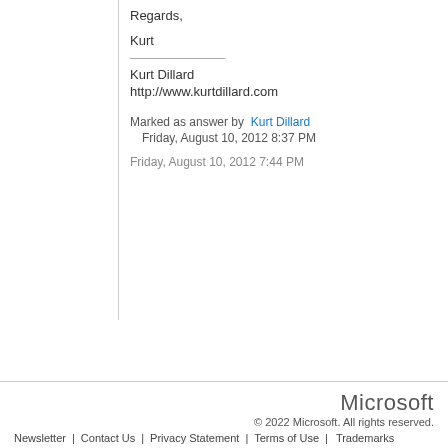Regards,
Kurt
Kurt Dillard
http://www.kurtdillard.com
Marked as answer by  Kurt Dillard
  Friday, August 10, 2012 8:37 PM
Friday, August 10, 2012 7:44 PM
Microsoft
© 2022 Microsoft. All rights reserved.
Newsletter  |  Contact Us  |  Privacy Statement  |  Terms of Use  |  Trademarks